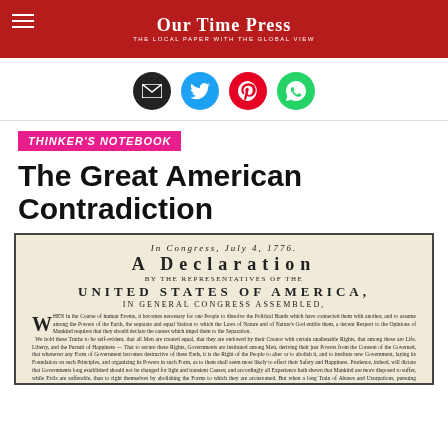Our Time Press — The Local Paper with the Global View
[Figure (infographic): Four social sharing icons in circles: email (black), Twitter (blue), Pinterest (red), WhatsApp (green)]
THINKER'S NOTEBOOK
The Great American Contradiction
[Figure (photo): Historical image of the Declaration of Independence document reading: In Congress, July 4, 1776. A Declaration by the Representatives of the United States of America, in General Congress Assembled. With body text beginning with a drop capital W.]